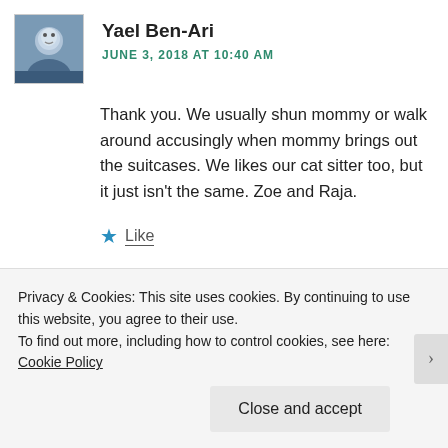[Figure (photo): Avatar photo of Yael Ben-Ari, a person outdoors]
Yael Ben-Ari
JUNE 3, 2018 AT 10:40 AM
Thank you. We usually shun mommy or walk around accusingly when mommy brings out the suitcases. We likes our cat sitter too, but it just isn't the same. Zoe and Raja.
Like
[Figure (illustration): Cat paw icon avatar for Eastside Catse]
Eastside Catse
Privacy & Cookies: This site uses cookies. By continuing to use this website, you agree to their use.
To find out more, including how to control cookies, see here: Cookie Policy
Close and accept